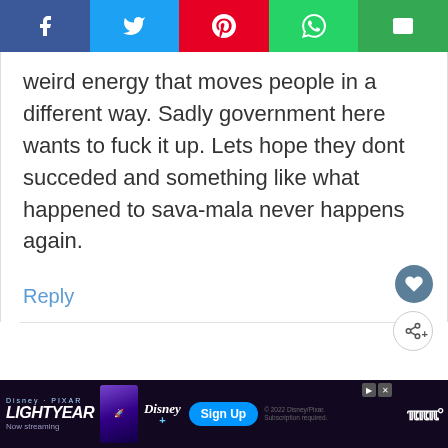[Figure (screenshot): Social media share bar with icons for Facebook, Twitter, Pinterest, WhatsApp, and Email]
weird energy that moves people in a different way. Sadly government here wants to fuck it up. Lets hope they dont succeded and something like what happened to sava-mala never happens again.
Reply
[Figure (screenshot): Disney Pixar Lightyear advertisement banner at bottom of page with Sign Up button and Disney+ logo]